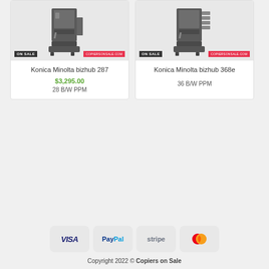[Figure (photo): Konica Minolta bizhub 287 copier product image with ON SALE badge and copiersonsale.com badge]
Konica Minolta bizhub 287
$3,295.00
28 B/W PPM
[Figure (photo): Konica Minolta bizhub 368e copier product image with ON SALE badge and copiersonsale.com badge]
Konica Minolta bizhub 368e
36 B/W PPM
[Figure (infographic): Payment method badges: VISA, PayPal, stripe, MasterCard]
Copyright 2022 © Copiers on Sale